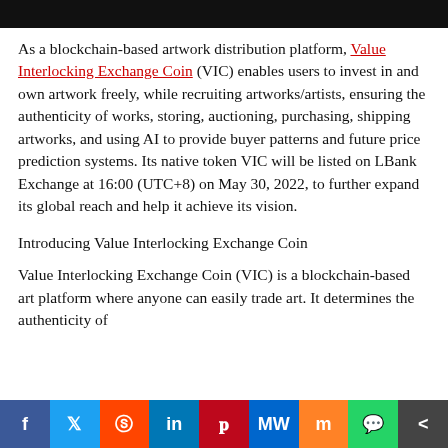[Figure (photo): Dark/black image banner at the top of the page]
As a blockchain-based artwork distribution platform, Value Interlocking Exchange Coin (VIC) enables users to invest in and own artwork freely, while recruiting artworks/artists, ensuring the authenticity of works, storing, auctioning, purchasing, shipping artworks, and using AI to provide buyer patterns and future price prediction systems. Its native token VIC will be listed on LBank Exchange at 16:00 (UTC+8) on May 30, 2022, to further expand its global reach and help it achieve its vision.
Introducing Value Interlocking Exchange Coin
Value Interlocking Exchange Coin (VIC) is a blockchain-based art platform where anyone can easily trade art. It determines the authenticity of